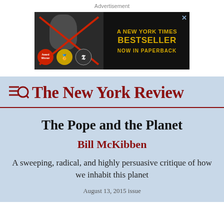Advertisement
[Figure (illustration): A New York Times Bestseller — Now in Paperback. Dark banner advertisement with gold text and a book cover featuring a face with red X marks and award badges.]
The New York Review
The Pope and the Planet
Bill McKibben
A sweeping, radical, and highly persuasive critique of how we inhabit this planet
August 13, 2015 issue